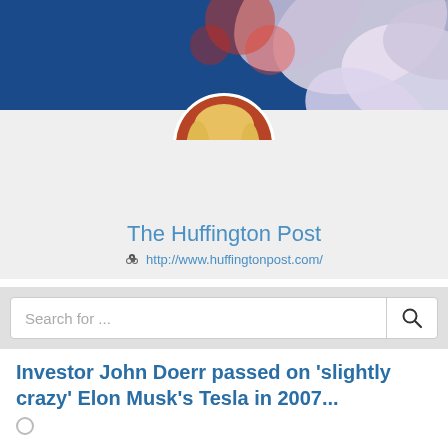[Figure (photo): Profile banner with blue background and flower petals, with a circular avatar photo of a young blonde woman]
The Huffington Post
http://www.huffingtonpost.com/
Search for ...
Investor John Doerr passed on 'slightly crazy' Elon Musk's Tesla in 2007...
The idea of investing in a car company in 2007 was a turnoff because the odds were stacked against Tesla, according to Doerr.